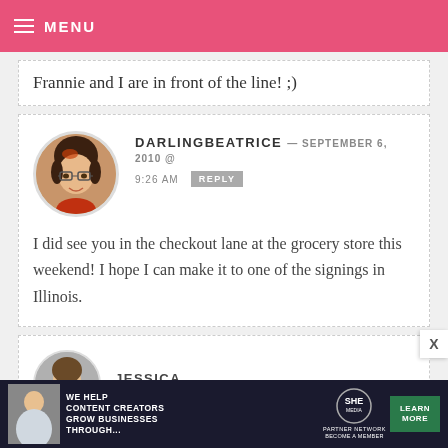MENU
Frannie and I are in front of the line! ;)
DARLINGBEATRICE — SEPTEMBER 6, 2010 @ 9:26 AM REPLY
I did see you in the checkout lane at the grocery store this weekend! I hope I can make it to one of the signings in Illinois.
JESSICA — SEPTEMBER 6, 2010 ...